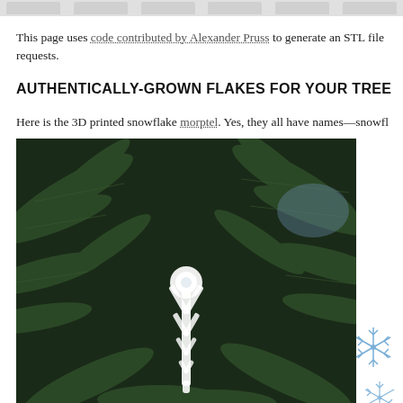This page uses code contributed by Alexander Pruss to generate an STL file requests.
AUTHENTICALLY-GROWN FLAKES FOR YOUR TREE
Here is the 3D printed snowflake morptel. Yes, they all have names—snowfl
[Figure (photo): A 3D printed white snowflake ornament hanging on a Christmas tree with dark green pine branches in the background. The snowflake has intricate branching arms.]
[Figure (illustration): Decorative blue snowflake illustration in the bottom right corner]